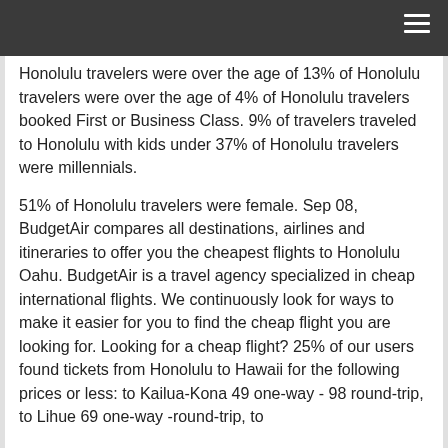Honolulu travelers were over the age of 13% of Honolulu travelers were over the age of 4% of Honolulu travelers booked First or Business Class. 9% of travelers traveled to Honolulu with kids under 37% of Honolulu travelers were millennials.
51% of Honolulu travelers were female. Sep 08, BudgetAir compares all destinations, airlines and itineraries to offer you the cheapest flights to Honolulu Oahu. BudgetAir is a travel agency specialized in cheap international flights. We continuously look for ways to make it easier for you to find the cheap flight you are looking for. Looking for a cheap flight? 25% of our users found tickets from Honolulu to Hawaii for the following prices or less: to Kailua-Kona 49 one-way - 98 round-trip, to Lihue 69 one-way -round-trip, to